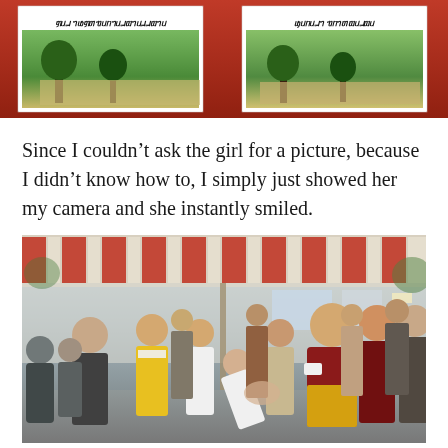[Figure (photo): Top portion showing two white booklets/pamphlets lying on a red surface, each with text in a non-Latin script and a photo of a building with trees]
Since I couldn't ask the girl for a picture, because I didn't know how to, I simply just showed her my camera and she instantly smiled.
[Figure (photo): A group of people gathered outdoors under a striped awning. A person in maroon Buddhist robes (appearing to be the Dalai Lama) is greeting/shaking hands with a woman in white. Several other people stand around including monks, men in suits, and women in colorful clothing.]